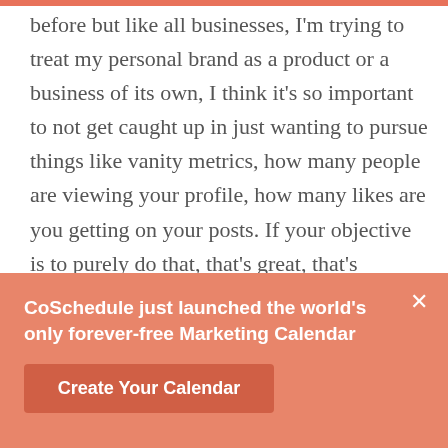before but like all businesses, I'm trying to treat my personal brand as a product or a business of its own, I think it's so important to not get caught up in just wanting to pursue things like vanity metrics, how many people are viewing your profile, how many likes are you getting on your posts. If your objective is to purely do that, that's great, that's something that you should proactively pursue. But if you want to put all this time into building your personal brand and get something tangible out of it in a way, I think it's really important to focus on a lot of the
CoSchedule just launched the world's only forever-free Marketing Calendar
Create Your Calendar